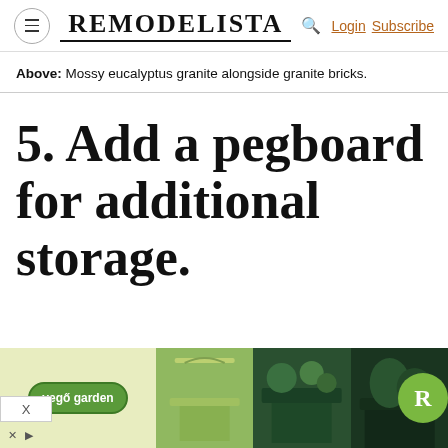REMODELISTA | Login Subscribe
Above: Mossy eucalyptus granite alongside granite bricks.
5. Add a pegboard for additional storage.
[Figure (screenshot): Advertisement banner for 'vego garden' showing garden raised beds with green metal planters and foliage images, with a green R badge logo.]